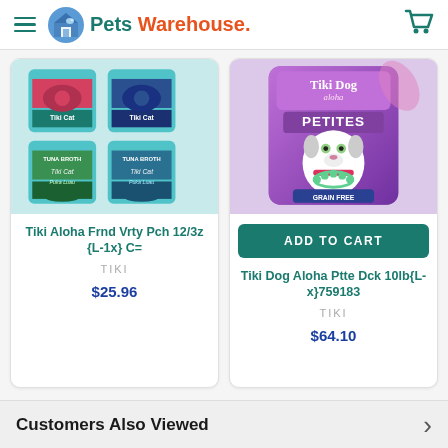Pets Warehouse
[Figure (photo): Tiki Cat Aloha Friends Variety Pouch canned cat food products arranged in 2x2 grid]
Tiki Aloha Frnd Vrty Pch 12/3z {L-1x} C=
TIKI
$25.96
[Figure (photo): Tiki Dog Aloha Petites Duck Load dry dog food bag, purple and pink packaging with cartoon dog]
ADD TO CART
Tiki Dog Aloha Ptte Dck 10lb{L-x}759183
TIKI
$64.10
Customers Also Viewed